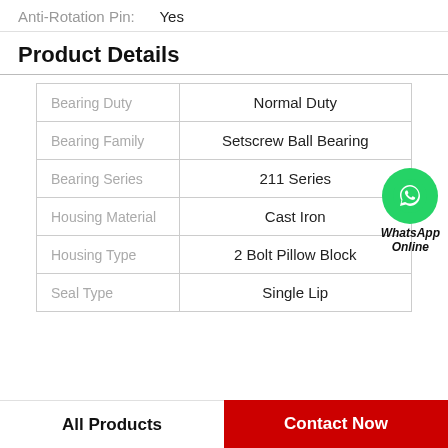Anti-Rotation Pin: Yes
Product Details
|  |  |
| --- | --- |
| Bearing Duty | Normal Duty |
| Bearing Family | Setscrew Ball Bearing |
| Bearing Series | 211 Series |
| Housing Material | Cast Iron |
| Housing Type | 2 Bolt Pillow Block |
| Seal Type | Single Lip |
All Products
Contact Now